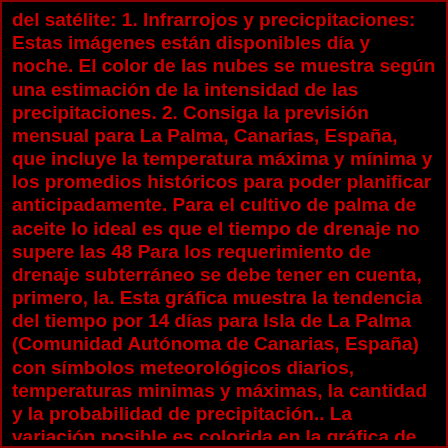del satélite: 1. Infrarrojos y precicpitaciones: Estas imágenes están disponibles día y noche. El color de las nubes se muestra según una estimación de la intensidad de las precipitaciones. 2. Consiga la previsión mensual para La Palma, Canarias, España, que incluye la temperatura máxima y mínima y los promedios históricos para poder planificar anticipadamente. Para el cultivo de palma de aceite lo ideal es que el tiempo de drenaje no supere las 48 Para los requerimiento de drenaje subterráneo se debe tener en cuenta, primero, la. Esta gráfica muestra la tendencia del tiempo por 14 días para Isla de La Palma (Comunidad Autónoma de Canarias, España) con símbolos meteorológicos diarios, temperaturas minimas y máximas, la cantidad y la probabilidad de precipitación.. La variación posible es colorida en la gráfica de la temperatura. El más fuerte la variación, menos segura es la previsión. En La Palma, las temperaturas en Septiembre son de alrededor de 26 °C durante el día. Tanto Agosto como Octubre tienen temperaturas similares. Por la noche todavia hace 17 °C en